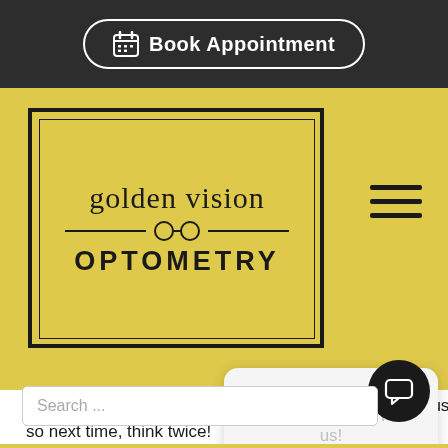Book Appointment
[Figure (logo): Golden Vision Optometry logo with glasses icon on yellow background]
there are potential consequences, some of them serious, so next time, think twice!
Got a question? Text us!
Search ...